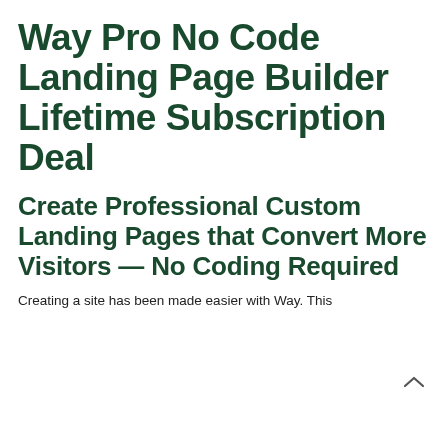Way Pro No Code Landing Page Builder Lifetime Subscription Deal
Create Professional Custom Landing Pages that Convert More Visitors — No Coding Required
Creating a site has been made easier with Way. This